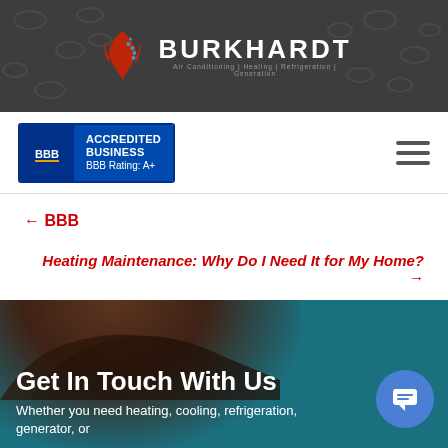BURKHARDT — Air Conditioning | Heating | Refrigeration | Generation
[Figure (logo): BBB Accredited Business badge with BBB Rating: A+ and hamburger menu icon]
← BBB
Heating Maintenance: Why Do I Need It for My Home? →
[Figure (photo): Dark teal background section with partial view of a person's head, showing Get In Touch With Us heading]
Get In Touch With Us
Whether you need heating, cooling, refrigeration, generator, or